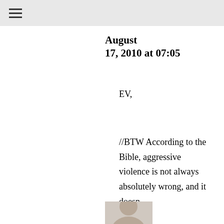≡ (hamburger menu icon)
August
17, 2010 at 07:05
EV,
//BTW According to the Bible, aggressive violence is not always absolutely wrong, and it doesn
[Figure (photo): Partial portrait photo of a person, cropped at bottom edge of page]